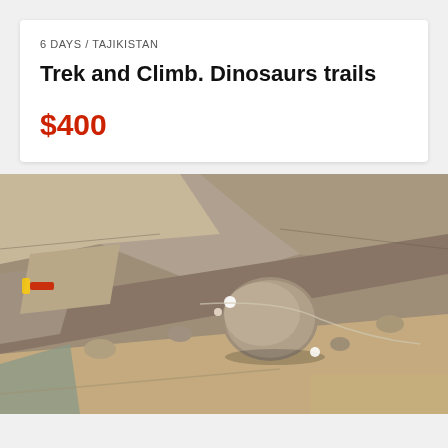6 DAYS / TAJIKISTAN
Trek and Climb. Dinosaurs trails
$400
[Figure (photo): Aerial or overhead view of rocky terrain with geological rock formations, stones, and climbing/survey equipment visible. Sandy and rocky surface with a large rounded boulder in the center. Some gear items (possibly white markers or equipment) visible among the rocks.]